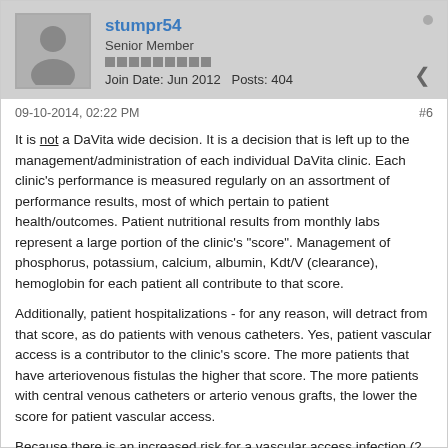stumpr54 | Senior Member | Join Date: Jun 2012 | Posts: 404
09-10-2014, 02:22 PM   #6
It is not a DaVita wide decision. It is a decision that is left up to the management/administration of each individual DaVita clinic. Each clinic's performance is measured regularly on an assortment of performance results, most of which pertain to patient health/outcomes. Patient nutritional results from monthly labs represent a large portion of the clinic's "score". Management of phosphorus, potassium, calcium, albumin, Kdt/V (clearance), hemoglobin for each patient all contribute to that score.
Additionally, patient hospitalizations - for any reason, will detract from that score, as do patients with venous catheters. Yes, patient vascular access is a contributor to the clinic's score. The more patients that have arteriovenous fistulas the higher that score. The more patients with central venous catheters or arterio venous grafts, the lower the score for patient vascular access.
Because there is an increased risk for a vascular access infection (2 in 1000 blunt/buttonhole, vs. 1 in 1000 sharp), many DaVita clinics refuse to take that additional risk and will not use buttonhole and blunt dialysis needle access. The decision is influenced by the medical staff including